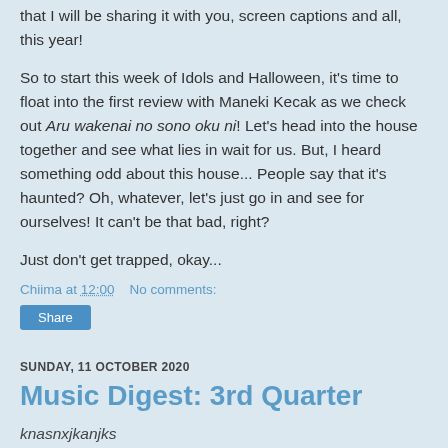that I will be sharing it with you, screen captions and all, this year!
So to start this week of Idols and Halloween, it's time to float into the first review with Maneki Kecak as we check out Aru wakenai no sono oku ni! Let's head into the house together and see what lies in wait for us. But, I heard something odd about this house... People say that it's haunted? Oh, whatever, let's just go in and see for ourselves! It can't be that bad, right?
Just don't get trapped, okay...
Chiima at 12:00    No comments:
Share
SUNDAY, 11 OCTOBER 2020
Music Digest: 3rd Quarter
knasnxjkanjks